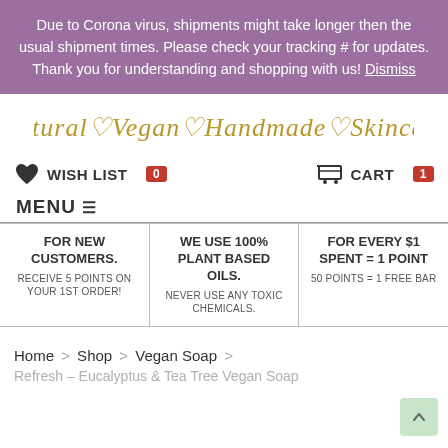Due to Corona virus, shipments might take longer then the usual shipment times. Please check your tracking # for updates. Thank you for understanding and shopping with us! Dismiss
[Figure (logo): Natural Vegan Handmade Skincare logo text with heart symbols]
WISH LIST 0
CART 1
MENU
FOR NEW CUSTOMERS. RECEIVE 5 POINTS ON YOUR 1ST ORDER!
WE USE 100% PLANT BASED OILS. NEVER USE ANY TOXIC CHEMICALS.
FOR EVERY $1 SPENT = 1 POINT 50 POINTS = 1 FREE BAR
Home > Shop > Vegan Soap > Refresh – Eucalyptus & Tea Tree Vegan Soap